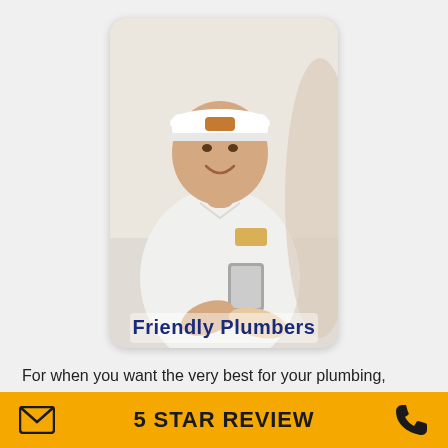[Figure (photo): A smiling male plumber in a white polo shirt and white cap with a logo, shaking hands with a customer. He is holding a clipboard. Text overlay at the bottom reads 'Friendly Plumbers' in bold dark blue.]
For when you want the very best for your plumbing, drains and sewer needs in Montebello and surrounding cities, you
5 STAR REVIEW